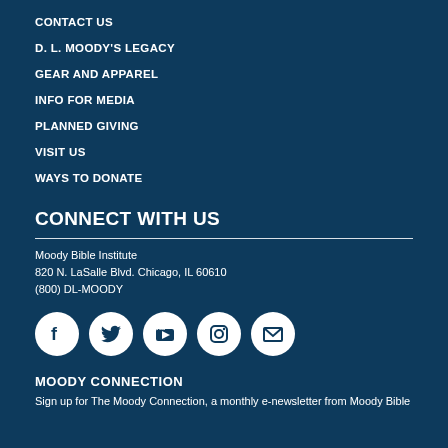CONTACT US
D. L. MOODY'S LEGACY
GEAR AND APPAREL
INFO FOR MEDIA
PLANNED GIVING
VISIT US
WAYS TO DONATE
CONNECT WITH US
Moody Bible Institute
820 N. LaSalle Blvd. Chicago, IL 60610
(800) DL-MOODY
[Figure (illustration): Row of five social media icon circles: Facebook, Twitter, YouTube, Instagram, Email]
MOODY CONNECTION
Sign up for The Moody Connection, a monthly e-newsletter from Moody Bible